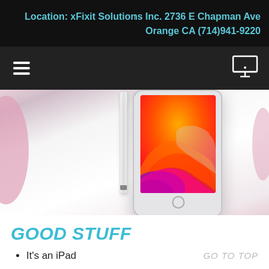Location: xFixit Solutions Inc. 2736 E Chapman Ave Orange CA (714)941-9220
[Figure (screenshot): Website navigation bar with hamburger menu icon on the left and monitor icon on the right, on dark background]
[Figure (photo): Apple iPad with colorful fluid wallpaper (orange, red, pink, purple waves) displayed on screen, with Apple Pencil beside it, on a light pink/white background]
GOOD STUFF
It's an iPad
GO TO TOP